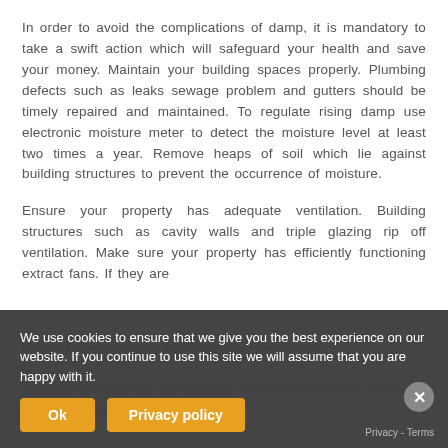In order to avoid the complications of damp, it is mandatory to take a swift action which will safeguard your health and save your money. Maintain your building spaces properly. Plumbing defects such as leaks sewage problem and gutters should be timely repaired and maintained. To regulate rising damp use electronic moisture meter to detect the moisture level at least two times a year. Remove heaps of soil which lie against building structures to prevent the occurrence of moisture.
Ensure your property has adequate ventilation. Building structures such as cavity walls and triple glazing rip off ventilation. Make sure your property has efficiently functioning extract fans. If they are clogged clean them to ensure proper ventilation. repellent material on the building structure acts as a barrier to prevent damp. Installation of eco-friendly ventilation systems is a
We use cookies to ensure that we give you the best experience on our website. If you continue to use this site we will assume that you are happy with it.